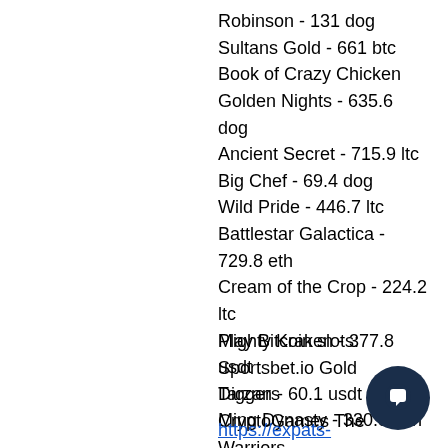Robinson - 131 dog
Sultans Gold - 661 btc
Book of Crazy Chicken Golden Nights - 635.6 dog
Ancient Secret - 715.9 ltc
Big Chef - 69.4 dog
Wild Pride - 446.7 ltc
Battlestar Galactica - 729.8 eth
Cream of the Crop - 224.2 ltc
Mighty Kraken - 377.8 usdt
Tarzan - 60.1 usdt
Ming Dynasty - 330.8 bch
Play Bitcoin slots:
Sportsbet.io Gold Diggers
CryptoGames The Warriors
Bitcasino.io Jazz It Up
1xSlots Casino Dogfather
https://expats-